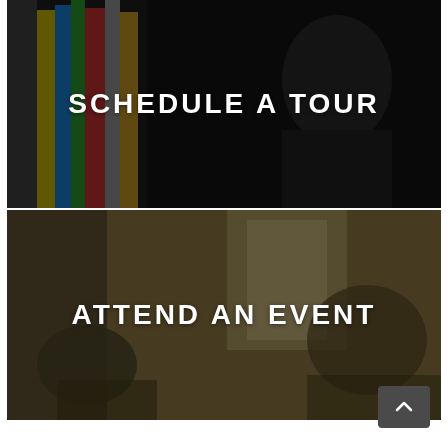[Figure (photo): Dark background photo of a student working in an art/design studio with colorful rolled materials on shelves. Text overlay reads SCHEDULE A TOUR.]
SCHEDULE A TOUR
[Figure (photo): Dark background photo of people at an event or gathering, possibly a classroom or auditorium setting. Text overlay reads ATTEND AN EVENT.]
ATTEND AN EVENT